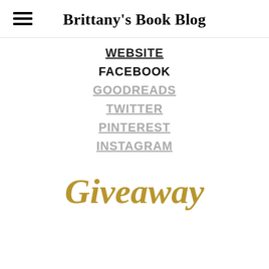Brittany's Book Blog
WEBSITE
FACEBOOK
GOODREADS
TWITTER
PINTEREST
INSTAGRAM
Giveaway